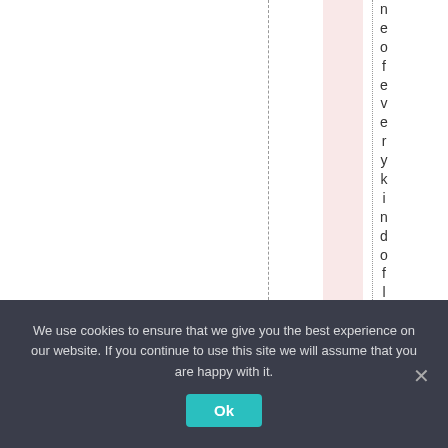[Figure (other): Page layout editor view showing a dashed vertical guide line, a pink highlighted column, a dotted vertical guide line, and vertical rotated text reading 'n e o f e v e r y k i n d o f l i f' along the right guide]
We use cookies to ensure that we give you the best experience on our website. If you continue to use this site we will assume that you are happy with it.